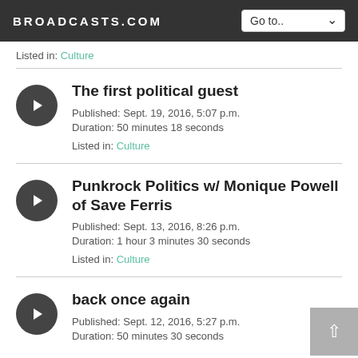BROADCASTS.COM
Listed in: Culture
The first political guest
Published: Sept. 19, 2016, 5:07 p.m.
Duration: 50 minutes 18 seconds
Listed in: Culture
Punkrock Politics w/ Monique Powell of Save Ferris
Published: Sept. 13, 2016, 8:26 p.m.
Duration: 1 hour 3 minutes 30 seconds
Listed in: Culture
back once again
Published: Sept. 12, 2016, 5:27 p.m.
Duration: 50 minutes 30 seconds